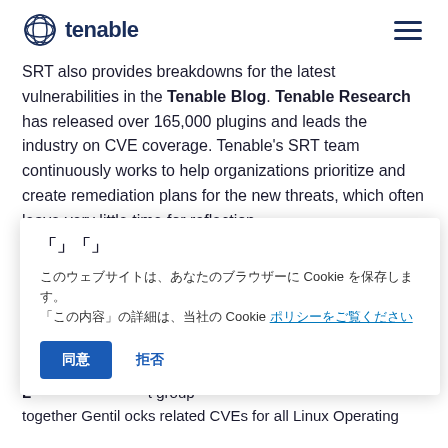tenable [logo + hamburger menu]
SRT also provides breakdowns for the latest vulnerabilities in the Tenable Blog. Tenable Research has released over 165,000 plugins and leads the industry on CVE coverage. Tenable's SRT team continuously works to help organizations prioritize and create remediation plans for the new threats, which often leave very little time for reflection.
Cookie overlay: Cookie title (in Japanese/CJK characters), cookie description with Cookie links, Accept and Decline buttons
[Partially visible bottom text about Plugin Family, assets, group, and Linux Operating Systems]